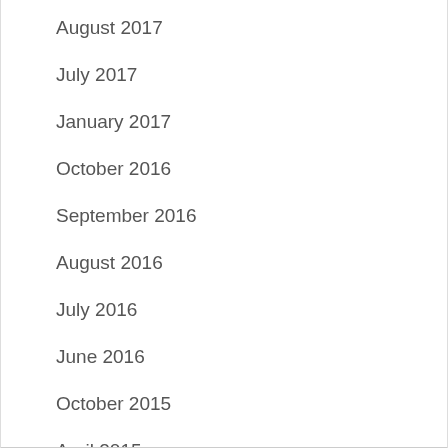August 2017
July 2017
January 2017
October 2016
September 2016
August 2016
July 2016
June 2016
October 2015
April 2015
January 2015